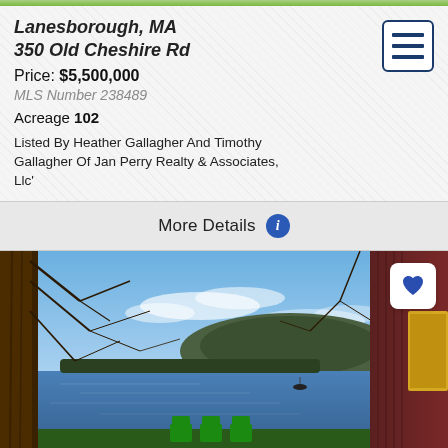Lanesborough, MA
350 Old Cheshire Rd
Price: $5,500,000
MLS Number 238489
Acreage 102
Listed By Heather Gallagher And Timothy Gallagher Of Jan Perry Realty & Associates, Llc'
More Details
[Figure (photo): Lakeside view from porch of a cabin with green Adirondack chairs, a large body of water, a mountain in the background, and tree trunks in the foreground. A dark red/maroon building with yellow trim is visible on the right.]